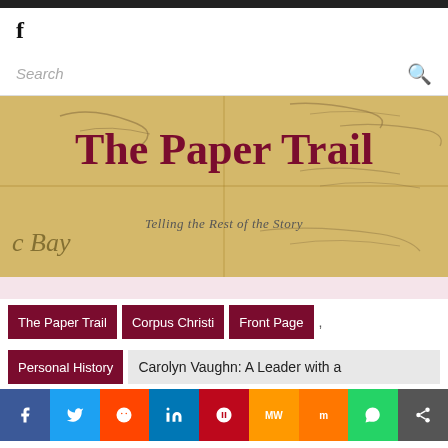f
Search
[Figure (illustration): Hero banner with parchment/aged document background texture showing handwritten text. Overlay text reads 'The Paper Trail' in large dark red serif font, and subtitle 'Telling the Rest of the Story' in smaller italic serif.]
The Paper Trail
Telling the Rest of the Story
The Paper Trail
Corpus Christi
Front Page
Personal History
Carolyn Vaughn: A Leader with a
f  Twitter  Reddit  in  Pinterest  MW  Mix  WhatsApp  Share